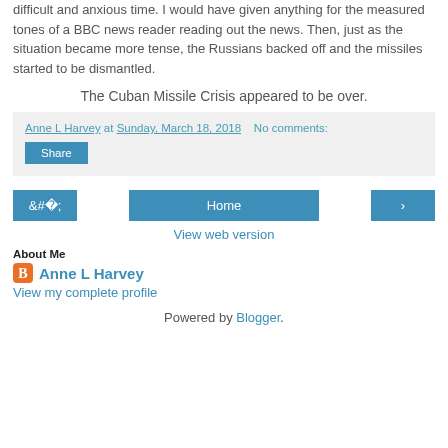difficult and anxious time. I would have given anything for the measured tones of a BBC news reader reading out the news. Then, just as the situation became more tense, the Russians backed off and the missiles started to be dismantled.
The Cuban Missile Crisis appeared to be over.
Anne L Harvey at Sunday, March 18, 2018  No comments:
Share
Home
View web version
About Me
Anne L Harvey
View my complete profile
Powered by Blogger.